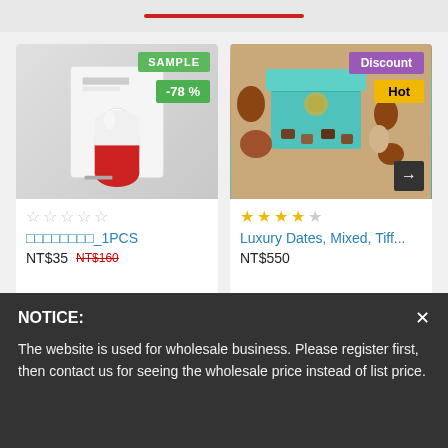[Figure (screenshot): E-commerce product card for a face mask/Dr. Jart product with a capsule/pill shaped packaging image, showing SAMPLE badge and -78% discount badge]
□□□□□□□□_1PCS
NT$35  NT$160
[Figure (photo): E-commerce product card for Luxury Dates in a teal Tiffany-style box with mixed dates and nuts, showing Discount and Hot badges, with arrow navigation button]
Luxury Dates, Mixed, Tiff...
NT$550
NOTICE:
The website is used for wholesale business. Please register first, then contact us for seeing the wholesale price instead of list price.